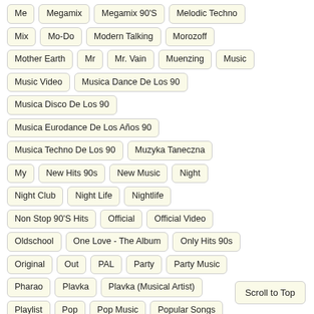Me
Megamix
Megamix 90'S
Melodic Techno
Mix
Mo-Do
Modern Talking
Morozoff
Mother Earth
Mr
Mr. Vain
Muenzing
Music
Music Video
Musica Dance De Los 90
Musica Disco De Los 90
Musica Eurodance De Los Años 90
Musica Techno De Los 90
Muzyka Taneczna
My
New Hits 90s
New Music
Night
Night Club
Night Life
Nightlife
Non Stop 90'S Hits
Official
Official Video
Oldschool
One Love - The Album
Only Hits 90s
Original
Out
PAL
Party
Party Music
Pharao
Plavka
Plavka (Musical Artist)
Playlist
Pop
Pop Music
Popular Songs
Progressive House
Prywatka
Radio
Rare Eurodance
Rave
Remember 90
Scroll to Top